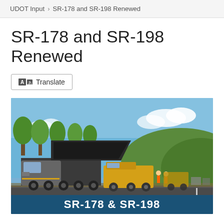UDOT Input › SR-178 and SR-198 Renewed
SR-178 and SR-198 Renewed
Translate
[Figure (photo): Road paving equipment including a large dump truck and yellow paving machines operating on a highway, with hills and trees visible in the background under a blue sky. A blue banner at the bottom reads SR-178 & SR-198.]